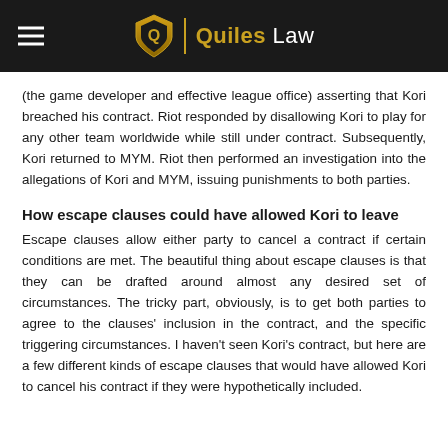Quiles Law
(the game developer and effective league office) asserting that Kori breached his contract. Riot responded by disallowing Kori to play for any other team worldwide while still under contract. Subsequently, Kori returned to MYM. Riot then performed an investigation into the allegations of Kori and MYM, issuing punishments to both parties.
How escape clauses could have allowed Kori to leave
Escape clauses allow either party to cancel a contract if certain conditions are met. The beautiful thing about escape clauses is that they can be drafted around almost any desired set of circumstances. The tricky part, obviously, is to get both parties to agree to the clauses' inclusion in the contract, and the specific triggering circumstances. I haven't seen Kori's contract, but here are a few different kinds of escape clauses that would have allowed Kori to cancel his contract if they were hypothetically included.